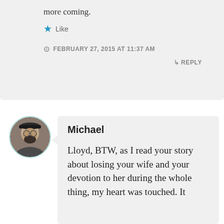more coming.
★ Like
FEBRUARY 27, 2015 AT 11:37 AM
↳ REPLY
[Figure (photo): Circular avatar photo of a man wearing a cap and beard, with a teal/mint circular border]
Michael
Lloyd, BTW, as I read your story about losing your wife and your devotion to her during the whole thing, my heart was touched. It